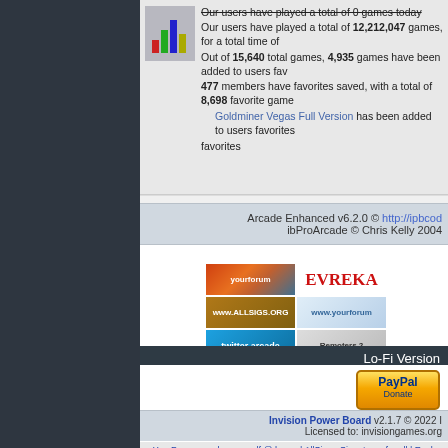Our users have played a total of 0 games today. Our users have played a total of 12,212,047 games, for a total time of ... Out of 15,640 total games, 4,935 games have been added to users fav... 477 members have favorites saved, with a total of 8,698 favorite game... Goldminer Vegas Full Version has been added to users favorites ... favorites
Arcade Enhanced v6.2.0 © http://ipbcod... ibProArcade © Chris Kelly 2004
[Figure (screenshot): Banner images: yourforum, EVREKA, allsigs.org, yourforum.nl, twitter arcade, Remoters 2]
Lo-Fi Version
[Figure (screenshot): PayPal Donate button]
Invision Power Board v2.1.7 © 2022 I... Licensed to: invisiongames.org
YourForum - make yourself @ home | AllSigs - Signatures for all | Rock Band... Remote Assistance | FileMiners - You as...